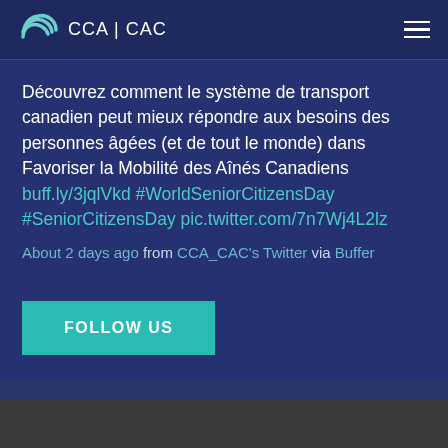CCA | CAC
Découvrez comment le système de transport canadien peut mieux répondre aux besoins des personnes âgées (et de tout le monde) dans Favoriser la Mobilité des Aînés Canadiens buff.ly/3jqlVkd #WorldSeniorCitizensDay #SeniorCitizensDay pic.twitter.com/7n7Wj4L2lz
About 2 days ago from CCA_CAC's Twitter via Buffer
FOLLOW US